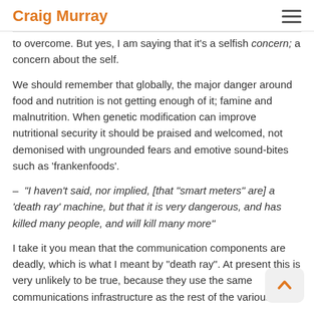Craig Murray
to overcome. But yes, I am saying that it’s a selfish concern; a concern about the self.
We should remember that globally, the major danger around food and nutrition is not getting enough of it; famine and malnutrition. When genetic modification can improve nutritional security it should be praised and welcomed, not demonised with ungrounded fears and emotive sound-bites such as ‘frankenfoods’.
– “I haven’t said, nor implied, [that “smart meters” are] a ‘death ray’ machine, but that it is very dangerous, and has killed many people, and will kill many more”
I take it you mean that the communication components are deadly, which is what I meant by “death ray”. At present this is very unlikely to be true, because they use the same communications infrastructure as the rest of the various